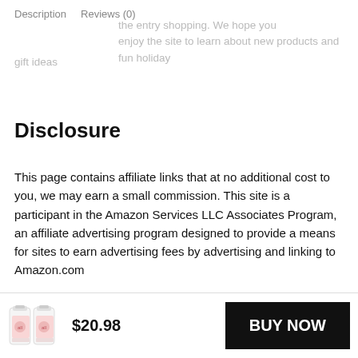Description   Reviews (0)
the site to learn about new products and fun holiday gift ideas
Disclosure
This page contains affiliate links that at no additional cost to you, we may earn a small commission. This site is a participant in the Amazon Services LLC Associates Program, an affiliate advertising program designed to provide a means for sites to earn advertising fees by advertising and linking to Amazon.com
$20.98  BUY NOW